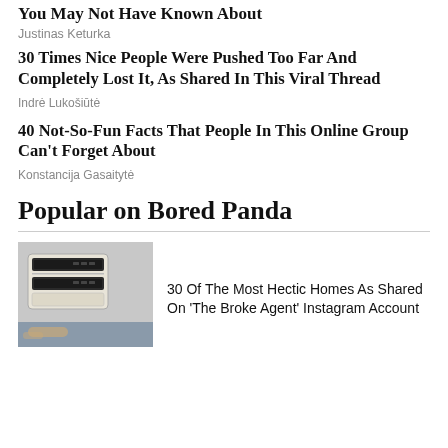You May Not Have Known About
Justinas Keturka
30 Times Nice People Were Pushed Too Far And Completely Lost It, As Shared In This Viral Thread
Indrė Lukošiūtė
40 Not-So-Fun Facts That People In This Online Group Can't Forget About
Konstancija Gasaitytė
Popular on Bored Panda
[Figure (photo): Photo of a microwave oven with keypad, possibly installed in a kitchen]
30 Of The Most Hectic Homes As Shared On 'The Broke Agent' Instagram Account